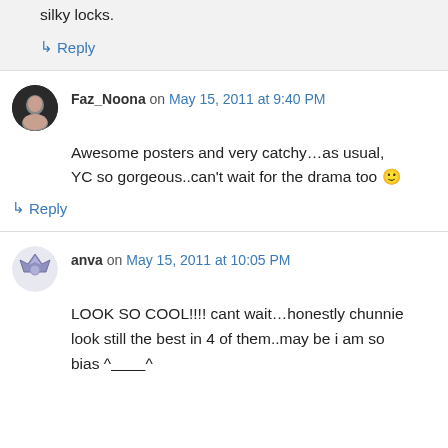silky locks.
↳ Reply
Faz_Noona on May 15, 2011 at 9:40 PM
Awesome posters and very catchy…as usual, YC so gorgeous..can't wait for the drama too 🙂
↳ Reply
anva on May 15, 2011 at 10:05 PM
LOOK SO COOL!!!! cant wait…honestly chunnie look still the best in 4 of them..may be i am so bias ^_______^